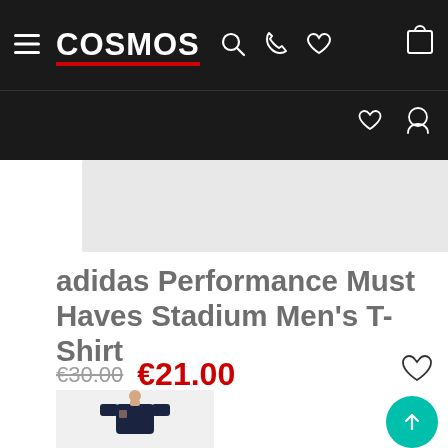COSMOS navigation bar with hamburger menu, logo, search, phone, wishlist, and bag icons
[Figure (photo): Product image placeholder — light grey rectangle]
adidas Performance Must Haves Stadium Men's T-Shirt
€30.00  €21.00
[Figure (photo): Man wearing a navy adidas t-shirt, cropped at bottom of page]